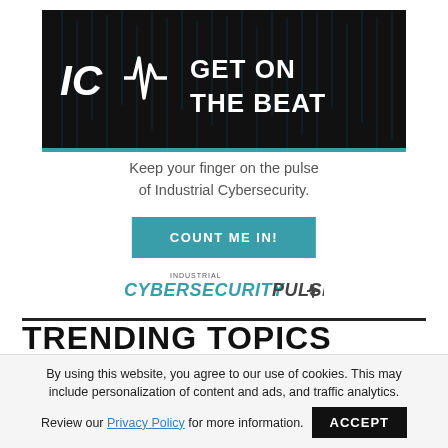[Figure (infographic): Black banner ad with vertical digital-rain lines, stylized ICM logo with heartbeat wave, bold white text 'GET ON THE BEAT', teal bottom border]
Keep your finger on the pulse of Industrial Cybersecurity.
COUNT ME IN!
[Figure (logo): Industrial Cybersecurity Pulse logo — 'INDUSTRIAL' in small caps above 'CYBERSECURITY' in teal bold italic and 'PULSE' with heartbeat graphic]
TRENDING TOPICS
By using this website, you agree to our use of cookies. This may include personalization of content and ads, and traffic analytics.
Review our Privacy Policy for more information.
ACCEPT